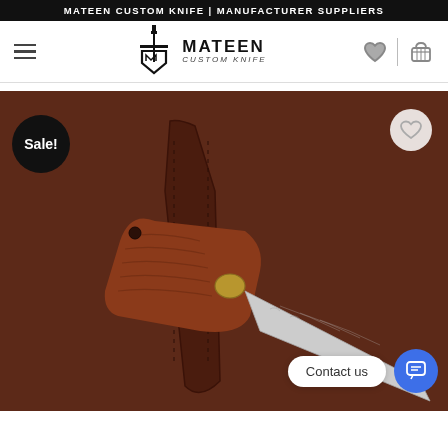MATEEN CUSTOM KNIFE | MANUFACTURER SUPPLIERS
[Figure (logo): Mateen Custom Knife logo with sword/shield emblem and brand name]
[Figure (photo): Custom Damascus knife with wooden handle resting on brown leather sheath, brown background. Sale badge in top-left, wishlist heart button top-right, Contact us chat widget bottom-right.]